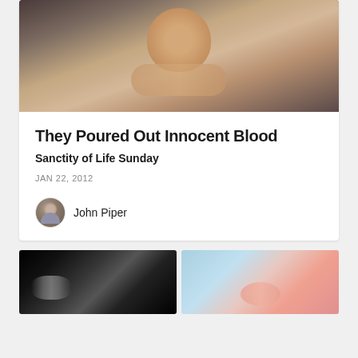[Figure (photo): Close-up photo of a sleeping baby held in adult hands]
They Poured Out Innocent Blood
Sanctity of Life Sunday
JAN 22, 2012
John Piper
[Figure (photo): Ultrasound image showing baby feet]
[Figure (photo): Photo of newborn baby feet on blue background]